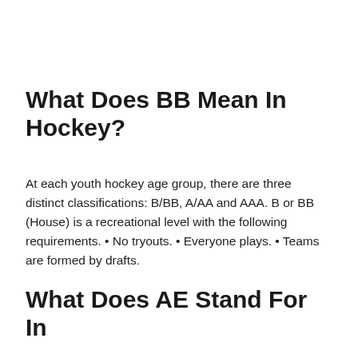What Does BB Mean In Hockey?
At each youth hockey age group, there are three distinct classifications: B/BB, A/AA and AAA. B or BB (House) is a recreational level with the following requirements. • No tryouts. • Everyone plays. • Teams are formed by drafts.
What Does AE Stand For In